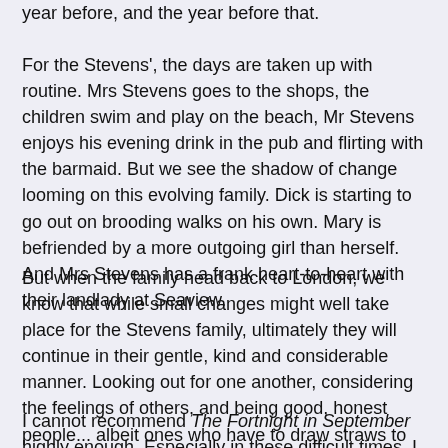year before, and the year before that.
For the Stevens', the days are taken up with routine. Mrs Stevens goes to the shops, the children swim and play on the beach, Mr Stevens enjoys his evening drink in the pub and flirting with the barmaid. But we see the shadow of change looming on this evolving family. Dick is starting to go out on brooding walks on his own. Mary is befriended by a more outgoing girl than herself. And Mrs Stevens has a frank heart-to-heart with their landlady at Seaview.
But when the family head back to London, we know that while small changes might well take place for the Stevens family, ultimately they will continue in their gentle, kind and considerable manner. Looking out for one another, considering the feelings of others, and being good, honest people... albeit ones who have to draw straws to decide who has the bad luck of visiting the neighbour to deliver the canary.
I cannot recommend The Fortnight in September highly enough. Especially in these difficult times. I wished it would